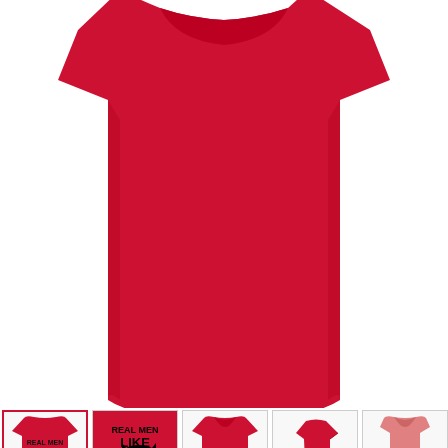[Figure (photo): Large red t-shirt product image, showing the body of the shirt from chest down]
[Figure (photo): Row of 5 product thumbnail images: front view with cat graphic, design detail (REAL MEN LIKE CATS), plain front red, side view red, back view pink/light]
$24.49
plus shipping
We use cookies
Add to cart
Click here to see a list of the categories of personal information we collect and what we use them for ("Notice at Collection").
Privacy Policy
Do Not Sell My Personal Information
By using this website, I agree to the Terms and Conditions